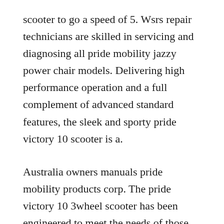scooter to go a speed of 5. Wsrs repair technicians are skilled in servicing and diagnosing all pride mobility jazzy power chair models. Delivering high performance operation and a full complement of advanced standard features, the sleek and sporty pride victory 10 scooter is a.
Australia owners manuals pride mobility products corp. The pride victory 10 3wheel scooter has been engineered to meet the needs of those who are on the go. Learn more about how a pride product has changed their life and